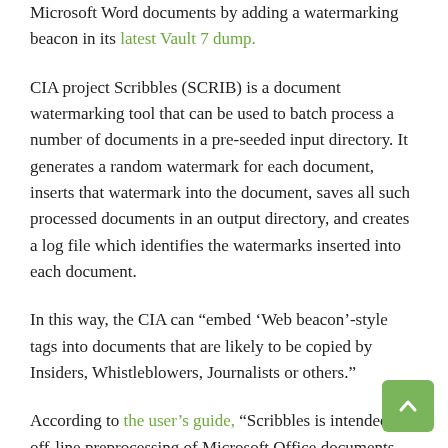Microsoft Word documents by adding a watermarking beacon in its latest Vault 7 dump.
CIA project Scribbles (SCRIB) is a document watermarking tool that can be used to batch process a number of documents in a pre-seeded input directory. It generates a random watermark for each document, inserts that watermark into the document, saves all such processed documents in an output directory, and creates a log file which identifies the watermarks inserted into each document.
In this way, the CIA can “embed ‘Web beacon’-style tags into documents that are likely to be copied by Insiders, Whistleblowers, Journalists or others.”
According to the user’s guide, “Scribbles is intended for off-line preprocessing of Microsoft Office documents. The Scribbles executable should be set up on a Windows system for batch preprocessing of documents that will be